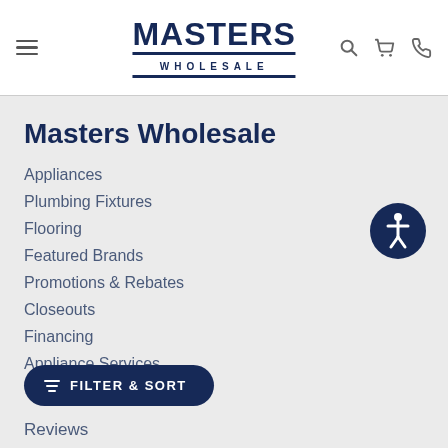[Figure (logo): Masters Wholesale logo with bold uppercase text and decorative border]
Masters Wholesale
Appliances
Plumbing Fixtures
Flooring
Featured Brands
Promotions & Rebates
Closeouts
Financing
Appliance Services
Reviews